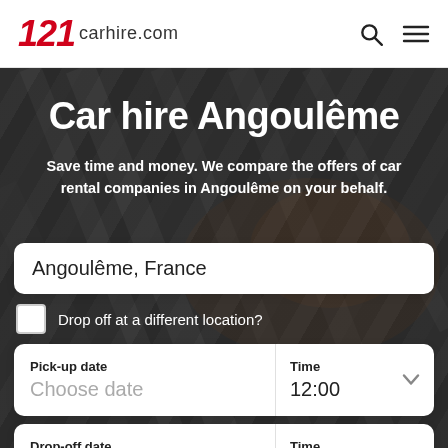121 carhire.com
Car hire Angoulême
Save time and money. We compare the offers of car rental companies in Angoulême on your behalf.
Angoulême, France
Drop off at a different location?
| Pick-up date | Time |
| --- | --- |
| Choose date | 12:00 |
| Drop-off date | Time |
| --- | --- |
| Choose date | 09:00 |